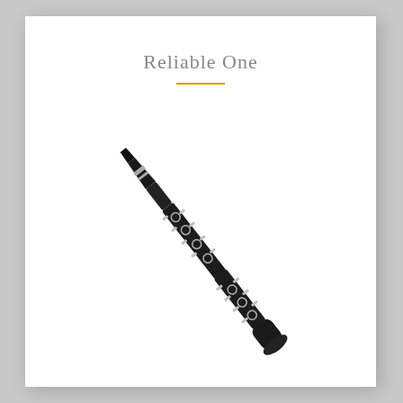Reliable One
[Figure (illustration): A black clarinet with silver keywork, photographed diagonally on a white background, oriented from upper-left to lower-right.]